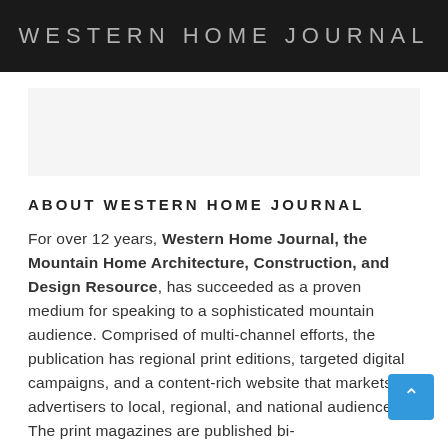WESTERN HOME JOURNAL
[Figure (other): Light gray image placeholder area]
ABOUT WESTERN HOME JOURNAL
For over 12 years, Western Home Journal, the Mountain Home Architecture, Construction, and Design Resource, has succeeded as a proven medium for speaking to a sophisticated mountain audience. Comprised of multi-channel efforts, the publication has regional print editions, targeted digital campaigns, and a content-rich website that markets advertisers to local, regional, and national audiences. The print magazines are published bi-